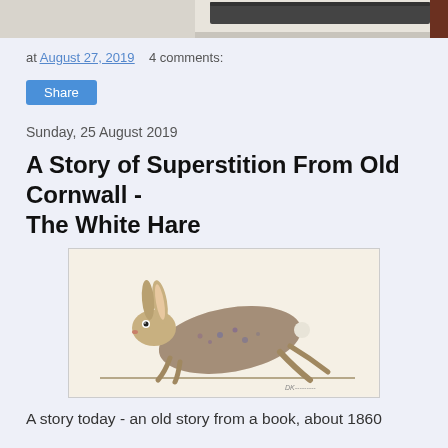[Figure (photo): Partial view of an image at the top of the page, cropped — appears to show a dark object on a light background]
at August 27, 2019    4 comments:
Share
Sunday, 25 August 2019
A Story of Superstition From Old Cornwall - The White Hare
[Figure (illustration): Illustration of a running hare (rabbit) with blue-speckled coloring on a white background with a ground line]
A story today - an old story from a book, about 1860